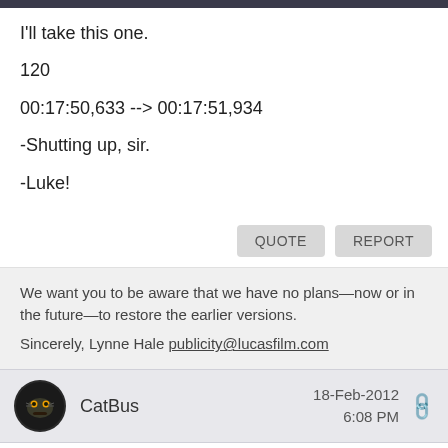I'll take this one.
120
00:17:50,633 --> 00:17:51,934
-Shutting up, sir.
-Luke!
QUOTE
REPORT
We want you to be aware that we have no plans—now or in the future—to restore the earlier versions.
Sincerely, Lynne Hale publicity@lucasfilm.com
CatBus
18-Feb-2012
6:08 PM
Yes, exactly.  That line was really borderline for me.  It